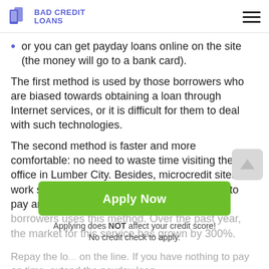BAD CREDIT LOANS
or you can get payday loans online on the site (the money will go to a bank card).
The first method is used by those borrowers who are biased towards obtaining a loan through Internet services, or it is difficult for them to deal with such technologies.
The second method is faster and more comfortable: no need to waste time visiting the office in Lumber City. Besides, microcredit sites work seven days a week and draw up money to pay around the clock. The absolute number of borrowers uses this method. Over the past year, the market for this service has grown by 300%.
[Figure (other): Green Apply Now button with text 'Applying does NOT affect your credit score! No credit check to apply.']
Repay the lo... on the line. If you have nothing to pay on time, extend the payday loan...